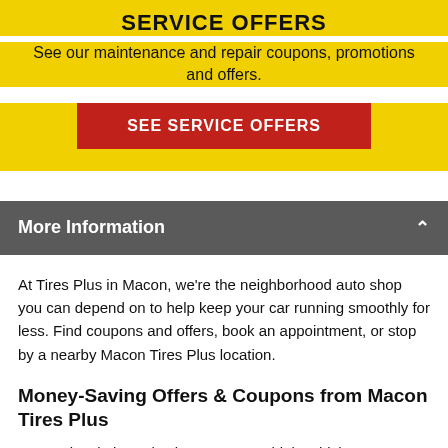SERVICE OFFERS
See our maintenance and repair coupons, promotions and offers.
SEE SERVICE OFFERS
More Information
At Tires Plus in Macon, we're the neighborhood auto shop you can depend on to help keep your car running smoothly for less. Find coupons and offers, book an appointment, or stop by a nearby Macon Tires Plus location.
Money-Saving Offers & Coupons from Macon Tires Plus
At your local Tires Plus in Macon, we think vehicle maintenance and more can—and should be—affordable. And in some cases, even more i